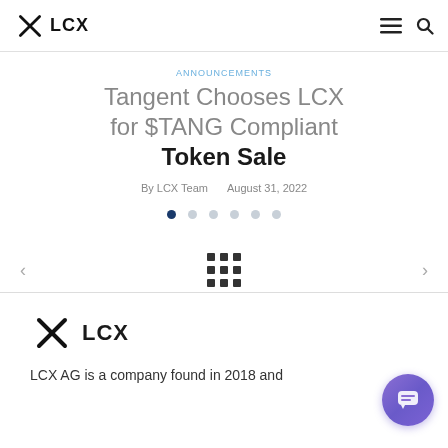LCX
ANNOUNCEMENTS
Tangent Chooses LCX for $TANG Compliant Token Sale
By LCX Team   August 31, 2022
[Figure (other): Carousel pagination dots, first dot active]
[Figure (other): Slider navigation row with left arrow, 3x3 grid icon, right arrow]
[Figure (logo): LCX logo at bottom section]
LCX AG is a company found in 2018 and